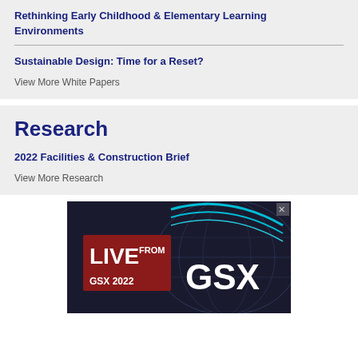Rethinking Early Childhood & Elementary Learning Environments
Sustainable Design: Time for a Reset?
View More White Papers
Research
2022 Facilities & Construction Brief
View More Research
[Figure (photo): Advertisement banner: LIVE FROM GSX 2022 event promotional image with dark background showing globe and text GSX]